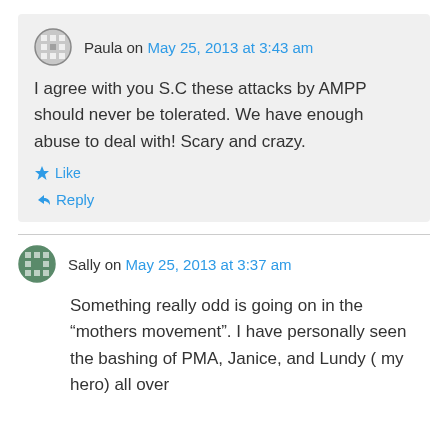Paula on May 25, 2013 at 3:43 am
I agree with you S.C these attacks by AMPP should never be tolerated. We have enough abuse to deal with! Scary and crazy.
Like
Reply
Sally on May 25, 2013 at 3:37 am
Something really odd is going on in the “mothers movement”. I have personally seen the bashing of PMA, Janice, and Lundy ( my hero) all over